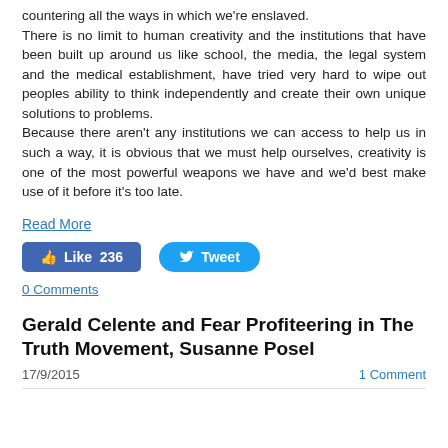countering all the ways in which we're enslaved.
There is no limit to human creativity and the institutions that have been built up around us like school, the media, the legal system and the medical establishment, have tried very hard to wipe out peoples ability to think independently and create their own unique solutions to problems.
Because there aren't any institutions we can access to help us in such a way, it is obvious that we must help ourselves, creativity is one of the most powerful weapons we have and we'd best make use of it before it's too late.
Read More
[Figure (other): Facebook Like button showing 236 likes and Twitter Tweet button]
0 Comments
Gerald Celente and Fear Profiteering in The Truth Movement, Susanne Posel
17/9/2015    1 Comment